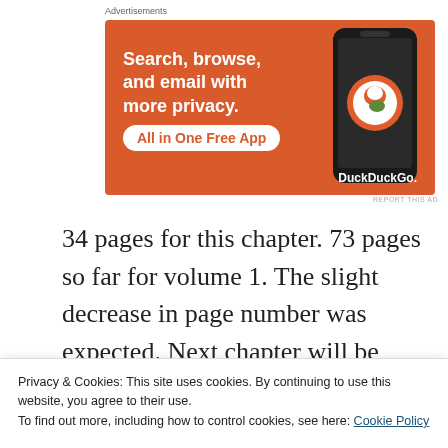Advertisements
[Figure (illustration): DuckDuckGo advertisement banner with orange background showing 'Search, browse, and email with more privacy. All in One Free App' with a phone graphic and DuckDuckGo logo]
34 pages for this chapter. 73 pages so far for volume 1. The slight decrease in page number was expected. Next chapter will be next month, in the next issue of Nakayoshi magazine, hopefully with a new color page each month (god bless
Privacy & Cookies: This site uses cookies. By continuing to use this website, you agree to their use.
To find out more, including how to control cookies, see here: Cookie Policy
Close and accept
[Figure (illustration): Bottom portion of DuckDuckGo advertisement showing 'with more privacy.' text in white on orange background]